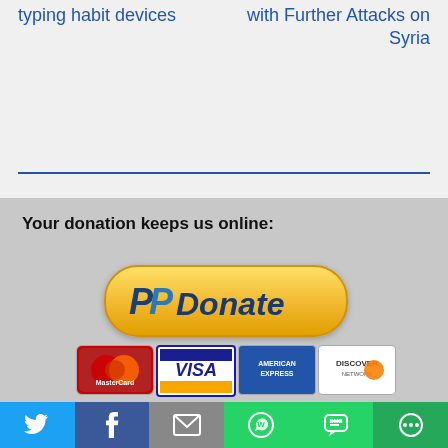typing habit devices
with Further Attacks on Syria
Your donation keeps us online:
[Figure (illustration): PayPal Donate button with golden rounded rectangle style]
[Figure (illustration): Payment card logos: MasterCard, VISA, American Express, Discover]
[Figure (illustration): Social sharing bar with Twitter, Facebook, Email, WhatsApp, SMS, and More icons]